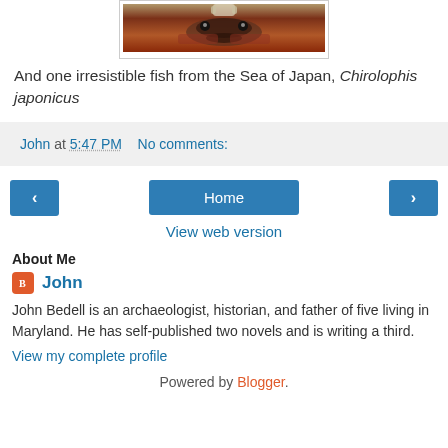[Figure (photo): Close-up photo of a fish (Chirolophis japonicus) from the Sea of Japan, showing its face and decorative features against a dark reddish-brown background.]
And one irresistible fish from the Sea of Japan, Chirolophis japonicus
John at 5:47 PM   No comments:
‹   Home   ›
View web version
About Me
John
John Bedell is an archaeologist, historian, and father of five living in Maryland. He has self-published two novels and is writing a third.
View my complete profile
Powered by Blogger.